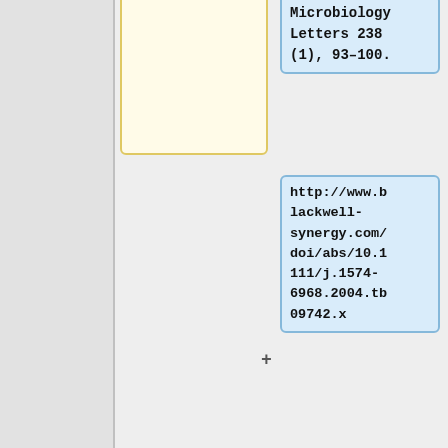Microbiology Letters 238 (1), 93–100.
http://www.blackwell-synergy.com/doi/abs/10.1111/j.1574-6968.2004.tb09742.x
Gianfrilli, P., Luzzi, I., Pantosti, A., Occhionero, M., Gentile, G., Panichi, G.
(15)Dridi, L., Tankovic, J., Petit, J. "CdeA of ''Clostridium difficile'', a New